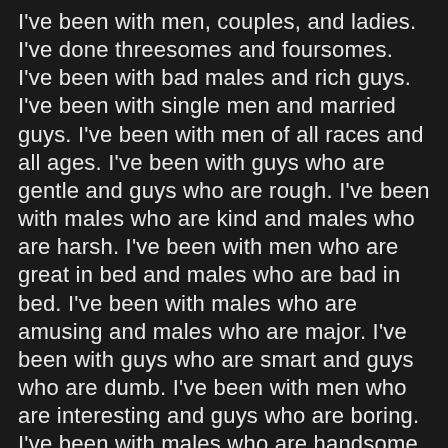I've been with men, couples, and ladies. I've done threesomes and foursomes. I've been with bad males and rich guys. I've been with single men and married guys. I've been with men of all races and all ages. I've been with guys who are gentle and guys who are rough. I've been with males who are kind and males who are harsh. I've been with men who are great in bed and males who are bad in bed. I've been with males who are amusing and males who are major. I've been with guys who are smart and guys who are dumb. I've been with men who are interesting and guys who are boring. I've been with males who are handsome and guys who are unsightly. I've been with males who are sweet and guys who are mean. I've been with guys who are generous and guys who are stingy. I've been with males who are interesting and guys who are dull. I've been with men who are interesting and men who are dull. I've been with males who are everything you can imagine, and I've been with guys who are absolutely nothing you can imagine. I've made love in